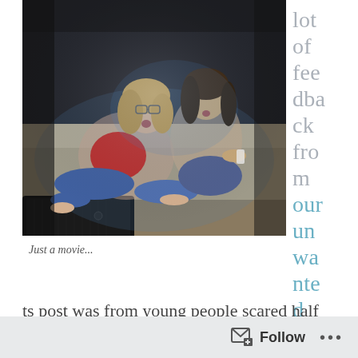[Figure (photo): Two young women huddled together on a couch, watching a scary movie in the dark, looking frightened. A TV is visible in the foreground.]
lot of feedback from our unwanted thoughts
Just a movie...
ts post was from young people scared half to
Follow ...